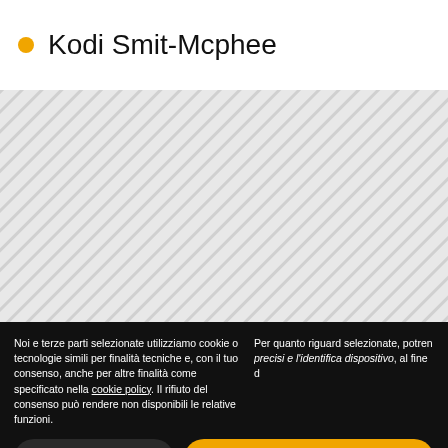Kodi Smit-Mcphee
[Figure (illustration): Diagonally hatched/striped gray pattern covering the main content area, representing a blurred or unavailable image.]
Noi e terze parti selezionate utilizziamo cookie o tecnologie simili per finalità tecniche e, con il tuo consenso, anche per altre finalità come specificato nella cookie policy. Il rifiuto del consenso può rendere non disponibili le relative funzioni.
Per quanto riguard selezionate, potren precisi e l'identifica dispositivo, al fine d
Personalizza
Accetta